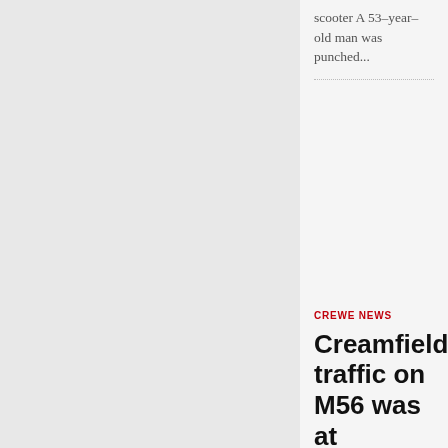scooter A 53-year-old man was punched...
CREWE NEWS
Creamfields traffic on M56 was at standstill after ‘serious’ crash
A man has